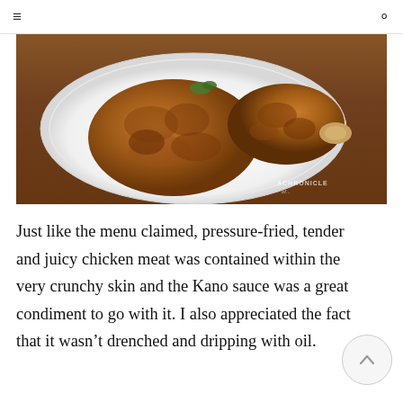≡  🔍
[Figure (photo): Fried chicken pieces (drumstick and thigh) on a white plate on a wooden surface, with watermark 'A Chronicle of...' in bottom right corner]
Just like the menu claimed, pressure-fried, tender and juicy chicken meat was contained within the very crunchy skin and the Kano sauce was a great condiment to go with it. I also appreciated the fact that it wasn't drenched and dripping with oil.